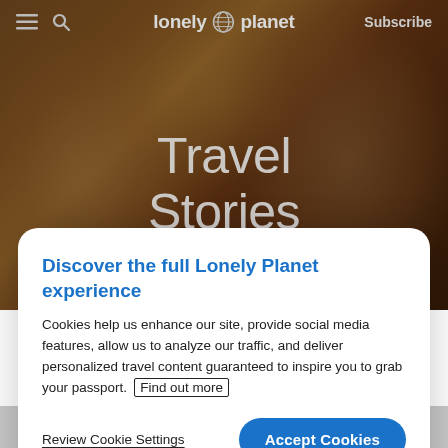lonely planet  Subscribe
[Figure (photo): Two women smiling together in a warm, dimly lit setting, overlaid with dark tint. Hero banner background for Lonely Planet Travel Stories page.]
Travel Stories
Discover the full Lonely Planet experience
Cookies help us enhance our site, provide social media features, allow us to analyze our traffic, and deliver personalized travel content guaranteed to inspire you to grab your passport.  Find out more
Review Cookie Settings
Accept Cookies